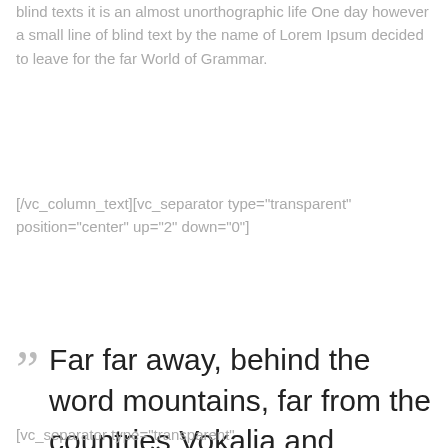blind texts it is an almost unorthographic life One day however a small line of blind text by the name of Lorem Ipsum decided to leave for the far World of Grammar.
[/vc_column_text][vc_separator type="transparent" position="center" up="2" down="0"]
Far far away, behind the word mountains, far from the countries Vokalia and Consonantia, there live the blind texts.
[vc_separator type="transparent"